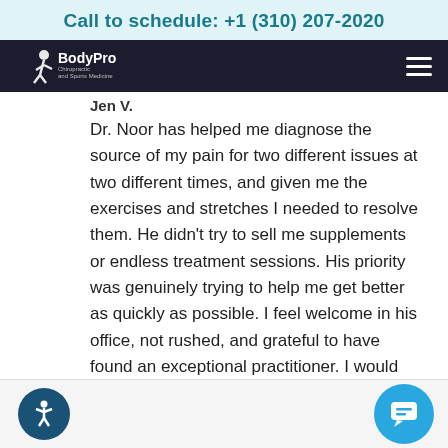Call to schedule: +1 (310) 207-2020
[Figure (logo): BodyPro Chiropractic and Sports Medicine logo with navigation bar and hamburger menu icon]
Jen V.
Dr. Noor has helped me diagnose the source of my pain for two different issues at two different times, and given me the exercises and stretches I needed to resolve them. He didn't try to sell me supplements or endless treatment sessions. His priority was genuinely trying to help me get better as quickly as possible. I feel welcome in his office, not rushed, and grateful to have found an exceptional practitioner. I would and do recommend BodyPro to people I care about.